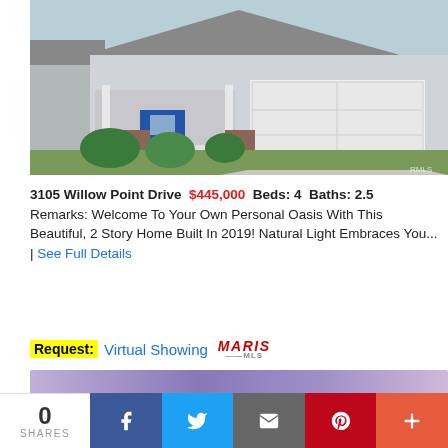[Figure (photo): Exterior photo of a single-story ranch house with a 2-car garage, blue front door, brick accents, covered porch, and landscaped front yard]
3105 Willow Point Drive $445,000 Beds: 4 Baths: 2.5
Remarks: Welcome To Your Own Personal Oasis With This Beautiful, 2 Story Home Built In 2019! Natural Light Embraces You... | See Full Details
Request: Virtual Showing MARIS MLS
[Figure (screenshot): Purple/lavender gradient banner preview strip]
0 SHARES
[Figure (infographic): Social share bar with Facebook, Twitter, Email, Pinterest, and More buttons]